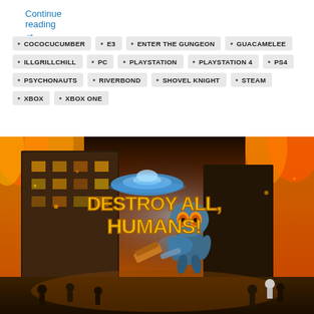Continue reading →
COCOCUCUMBER
E3
ENTER THE GUNGEON
GUACAMELEE
ILLGRILLCHILL
PC
PLAYSTATION
PLAYSTATION 4
PS4
PSYCHONAUTS
RIVERBOND
SHOVEL KNIGHT
STEAM
XBOX
XBOX ONE
[Figure (photo): Destroy All Humans! game cover art showing an alien character with a UFO flying over a burning city street with panicking humans]